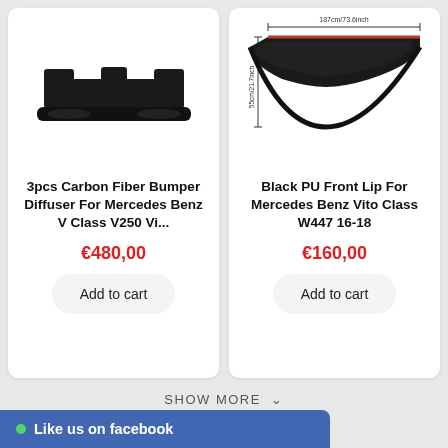[Figure (photo): 3pcs Carbon Fiber Bumper Diffuser product photo showing black car spoiler diffuser component]
3pcs Carbon Fiber Bumper Diffuser For Mercedes Benz V Class V250 Vi...
€480,00
Add to cart
[Figure (photo): Black PU Front Lip for Mercedes Benz Vito Class W447 16-18 with dimension annotations: 187cm/73.6inch width and 55cm/21.7inch height]
Black PU Front Lip For Mercedes Benz Vito Class W447 16-18
€160,00
Add to cart
SHOW MORE ˅
Like us on facebook